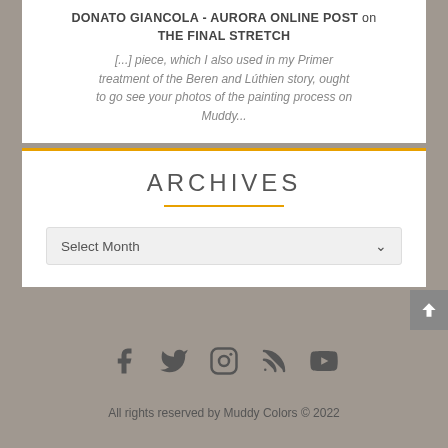DONATO GIANCOLA - AURORA ONLINE POST on THE FINAL STRETCH
[...] piece, which I also used in my Primer treatment of the Beren and Lúthien story, ought to go see your photos of the painting process on Muddy...
ARCHIVES
Select Month
[Figure (other): Social media icons: Facebook, Twitter, Instagram, RSS, YouTube]
All rights reserved by Muddy Colors © 2022